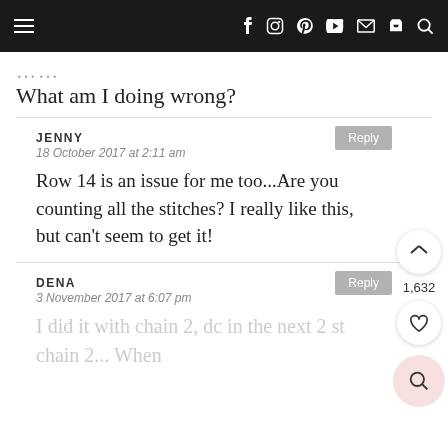≡  f  Instagram  Pinterest  YouTube  Mail  Cart  Search
……
What am I doing wrong?
JENNY
18 October 2017 at 2:11 am
Row 14 is an issue for me too...Are you counting all the stitches? I really like this, but can't seem to get it!
DENA
3 November 2017 at 6:07 pm
I did it with chain 2, dc in the next 2 st chain 2... When